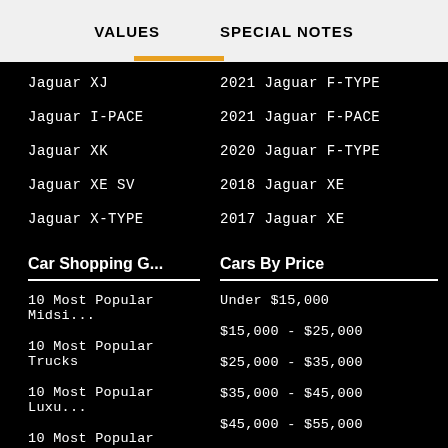VALUES   SPECIAL NOTES
Jaguar XJ
Jaguar I-PACE
Jaguar XK
Jaguar XE SV
Jaguar X-TYPE
2021 Jaguar F-TYPE
2021 Jaguar F-PACE
2020 Jaguar F-TYPE
2018 Jaguar XE
2017 Jaguar XE
Car Shopping G...
10 Most Popular Midsi...
10 Most Popular Trucks
10 Most Popular Luxu...
10 Most Popular Midsi...
10 Most Popular Hatc...
Most Reliable 2017 Tr...
10 Most Popular Smal
Cars By Price
Under $15,000
$15,000 - $25,000
$25,000 - $35,000
$35,000 - $45,000
$45,000 - $55,000
$55,000 - $65,000
$65,000 - $75,000